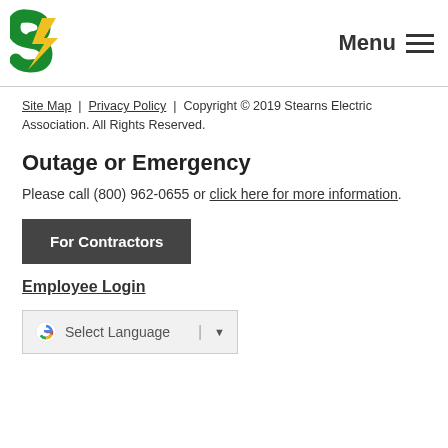Stearns Electric Association logo and Menu navigation
Site Map | Privacy Policy | Copyright © 2019 Stearns Electric Association. All Rights Reserved.
Outage or Emergency
Please call (800) 962-0655 or click here for more information.
For Contractors
Employee Login
[Figure (screenshot): Google Translate widget with 'Select Language' dropdown]